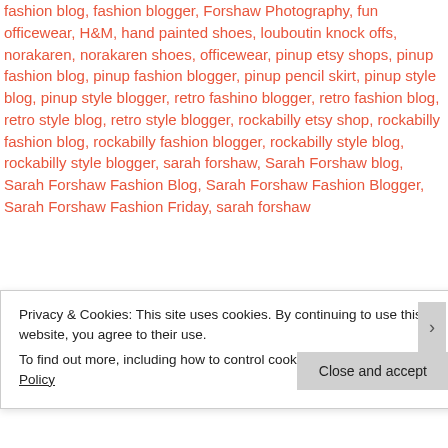fashion blog, fashion blogger, Forshaw Photography, fun officewear, H&M, hand painted shoes, louboutin knock offs, norakaren, norakaren shoes, officewear, pinup etsy shops, pinup fashion blog, pinup fashion blogger, pinup pencil skirt, pinup style blog, pinup style blogger, retro fashino blogger, retro fashion blog, retro style blog, retro style blogger, rockabilly etsy shop, rockabilly fashion blog, rockabilly fashion blogger, rockabilly style blog, rockabilly style blogger, sarah forshaw, Sarah Forshaw blog, Sarah Forshaw Fashion Blog, Sarah Forshaw Fashion Blogger, Sarah Forshaw Fashion Friday, sarah forshaw...
Privacy & Cookies: This site uses cookies. By continuing to use this website, you agree to their use. To find out more, including how to control cookies, see here: Cookie Policy